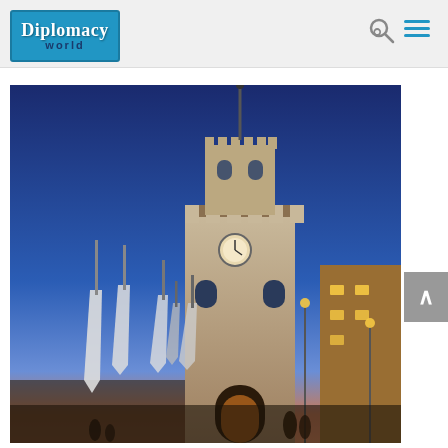Diplomacy World – navigation header with logo, search, and menu icons
[Figure (logo): Diplomacy World logo: blue rectangle with 'Diplomacy' in white serif font and 'world' in dark blue sans-serif below]
[Figure (photo): Photograph of an illuminated medieval tower (Palazzo Pubblico of San Marino) at dusk/twilight, with tall banner flags in the foreground and warm lights from buildings on the right. Deep blue sky fading to pinkish-orange at the horizon.]